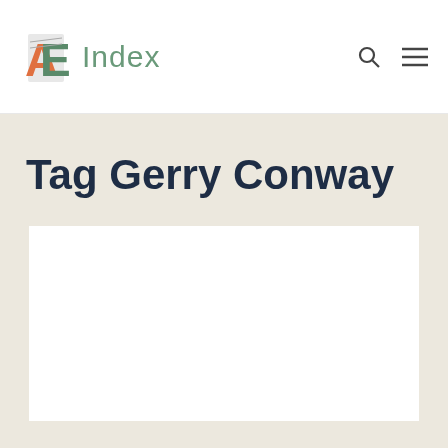AE Index
Tag Gerry Conway
[Figure (other): White content card area below the tag title, partially visible, on a beige background]